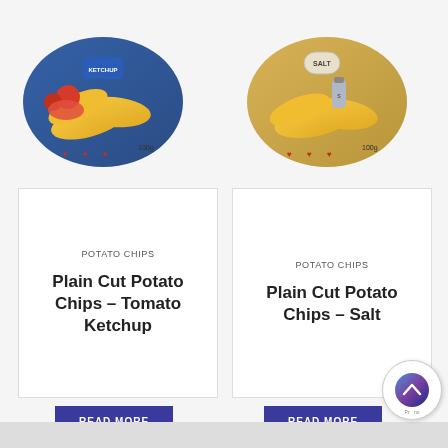[Figure (photo): Potato chip bag with ketchup flavor - tomato ketchup flavored plain cut chips package with tomatoes and dipping sauce visible]
[Figure (photo): Potato chip bag with salt flavor - plain cut chips package with salt shaker visible]
POTATO CHIPS
Plain Cut Potato Chips – Tomato Ketchup
READ MORE
POTATO CHIPS
Plain Cut Potato Chips – Salt
READ MORE